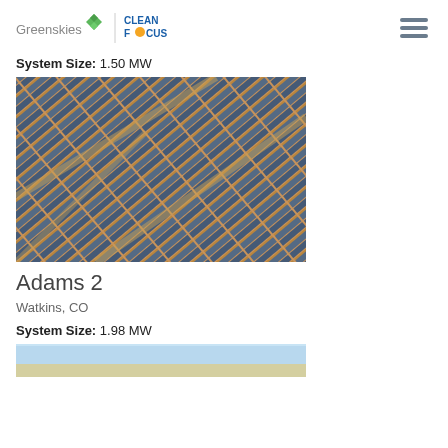Greenskies | CLEAN FOCUS
System Size: 1.50 MW
[Figure (photo): Aerial view of a large solar panel farm with rows of photovoltaic panels arranged diagonally over sandy/orange terrain, separated by dirt paths]
Adams 2
Watkins, CO
System Size: 1.98 MW
[Figure (photo): Partial aerial or ground-level view of another solar installation, showing blue sky and panels]